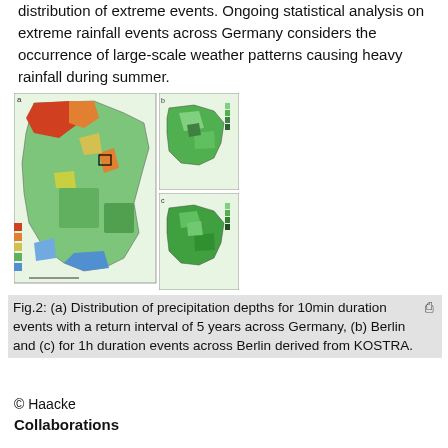distribution of extreme events. Ongoing statistical analysis on extreme rainfall events across Germany considers the occurrence of large-scale weather patterns causing heavy rainfall during summer.
[Figure (map): Three maps: (a) Distribution of precipitation depths for 10min duration events with return interval of 5 years across Germany shown as color gradient map, (b) zoomed map of Berlin region, (c) 1h duration events across Berlin. All derived from KOSTRA.]
Fig.2: (a) Distribution of precipitation depths for 10min duration events with a return interval of 5 years across Germany, (b) Berlin and (c) for 1h duration events across Berlin derived from KOSTRA.
© Haacke
Collaborations
Collaborations within UWI: W1, W3, H4
UWI kollegiates: Franzi Tügel und Basem Aljoumani
External collaborations: BWB